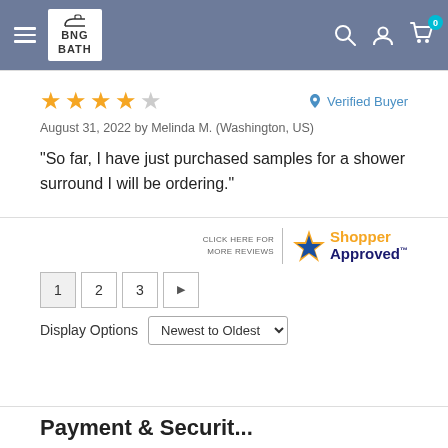BNG BATH
★★★★☆ Verified Buyer
August 31, 2022 by Melinda M. (Washington, US)
"So far, I have just purchased samples for a shower surround I will be ordering."
[Figure (logo): Shopper Approved badge with star icon]
CLICK HERE FOR MORE REVIEWS
Display Options  Newest to Oldest
Payment & Security